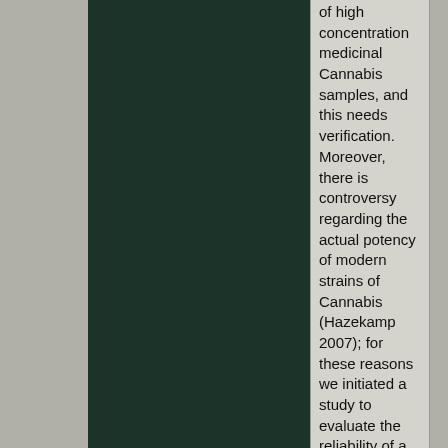[Figure (photo): Dark green/black image occupying the left portion of the page]
of high concentration medicinal Cannabis samples, and this needs verification. Moreover, there is controversy regarding the actual potency of modern strains of Cannabis (Hazekamp 2007); for these reasons we initiated a study to evaluate the reliability of a gas chromatography-based method to produce accurate and reproducible quantitative data on the Δ9-THC content of medicinal Cannabis.

This study has three parts: 1) Development of basic analytical technique for cannabinoid extraction and analysis; 2)...